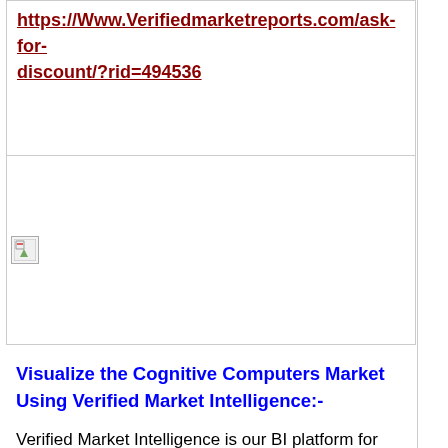https://Www.Verifiedmarketreports.com/ask-for-discount/?rid=494536
[Figure (other): Broken/placeholder image thumbnail (small icon with torn corner and green triangle)]
Visualize the Cognitive Computers Market Using Verified Market Intelligence:-
Verified Market Intelligence is our BI platform for market narrative storytelling. VMI offers in-depth forecast trends and accurate insights on over 20,000 emerging and niche markets, helping you